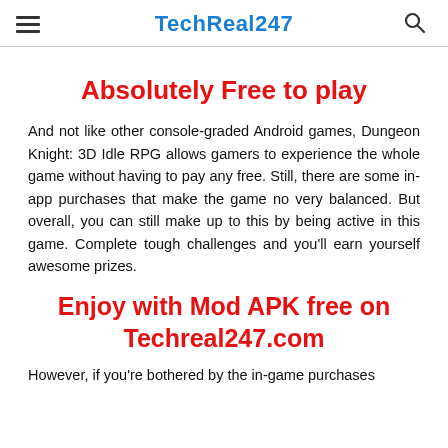TechReal247
Absolutely Free to play
And not like other console-graded Android games, Dungeon Knight: 3D Idle RPG allows gamers to experience the whole game without having to pay any free. Still, there are some in-app purchases that make the game no very balanced. But overall, you can still make up to this by being active in this game. Complete tough challenges and you’ll earn yourself awesome prizes.
Enjoy with Mod APK free on Techreal247.com
However, if you’re bothered by the in-game purchases